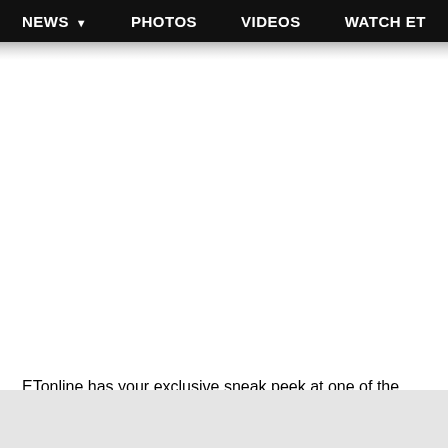NEWS ▾   PHOTOS   VIDEOS   WATCH ET
[Figure (photo): Large white/blank image area below navigation bar]
ETonline has your exclusive sneak peek at one of the night's most emotional moments, in which Adele opens